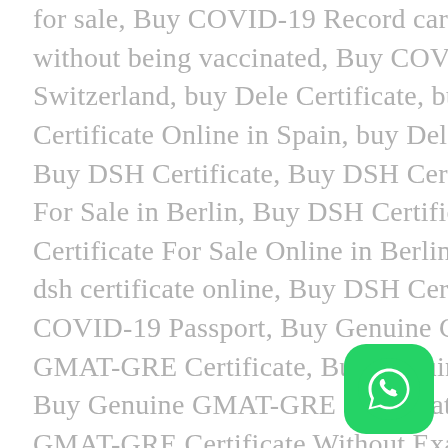for sale, Buy COVID-19 Record card in EU, Buy COVID-19 Record card without being vaccinated, Buy COVID-19 Vaccination Certificate In Switzerland, buy Dele Certificate, buy Dele Certificate Online, buy Dele Certificate Online in Spain, buy Dele Certificate Online without exam, Buy DSH Certificate, Buy DSH Certificate For Sale, Buy DSH Certificate For Sale in Berlin, Buy DSH Certificate For Sale Online, Buy DSH Certificate For Sale Online in Berlin, Buy DSH Certificate in Berlin, buy dsh certificate online, Buy DSH Certificate Online in Berlin, Buy EU COVID-19 Passport, Buy Genuine GMAT Certificate, Buy Genuine GMAT-GRE Certificate, Buy Genuine GMAT-GRE Certificate in India, Buy Genuine GMAT-GRE Certificate Without Exam, Buy Genuine GMAT-GRE Certificate Without Exam in India, BUY GMAT, Buy GMAT Certificate, Buy GMAT-GRE Certificate For Sale, Buy Goethe A1-A2-B1-B2-C1-C2, Buy Goethe Certificate, Buy Goethe Certificate
[Figure (other): WhatsApp contact button icon — green rounded square with white WhatsApp phone/chat logo]